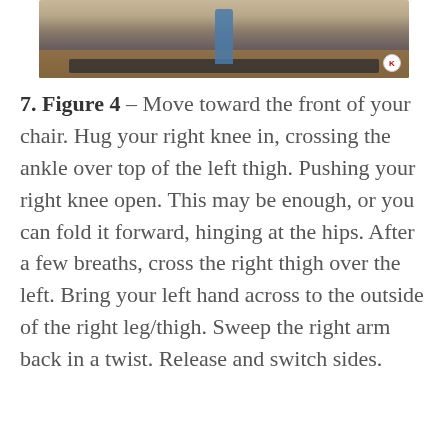[Figure (photo): A person performing a yoga or stretching exercise, standing on a mat in a studio with wooden floors and a brick wall in the background.]
7. Figure 4 – Move toward the front of your chair. Hug your right knee in, crossing the ankle over top of the left thigh. Pushing your right knee open. This may be enough, or you can fold it forward, hinging at the hips. After a few breaths, cross the right thigh over the left. Bring your left hand across to the outside of the right leg/thigh. Sweep the right arm back in a twist. Release and switch sides.